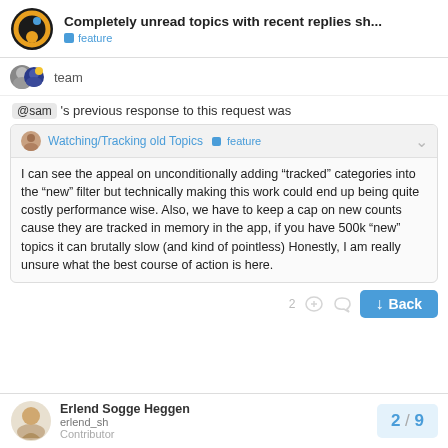Completely unread topics with recent replies sh... feature
team
@sam 's previous response to this request was
Watching/Tracking old Topics  feature

I can see the appeal on unconditionally adding "tracked" categories into the "new" filter but technically making this work could end up being quite costly performance wise. Also, we have to keep a cap on new counts cause they are tracked in memory in the app, if you have 500k "new" topics it can brutally slow (and kind of pointless) Honestly, I am really unsure what the best course of action is here.
Erlend Sogge Heggen  erlend_sh  Contributor  2/9